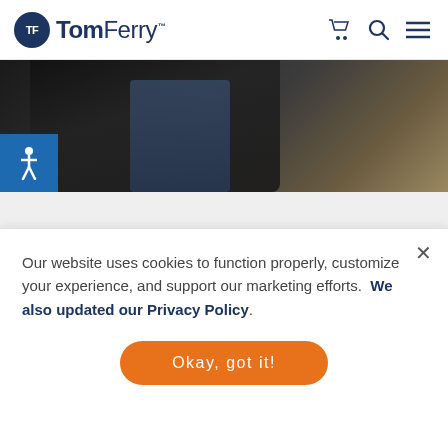TomFerry
[Figure (photo): Person wearing a dark leather jacket, partially visible, with a blue accessibility icon in the lower left corner of the image]
[Figure (logo): PodBean logo with WiFi signal arc above text]
Our website uses cookies to function properly, customize your experience, and support our marketing efforts. We also updated our Privacy Policy.
Okay, got it!